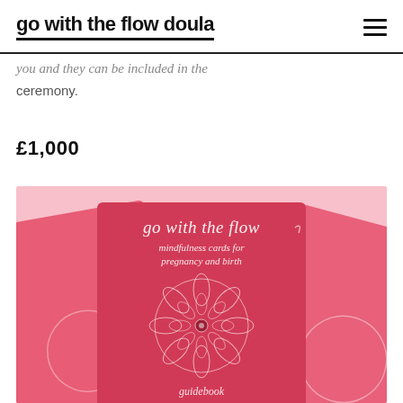go with the flow doula
you and they can be included in the ceremony.
£1,000
[Figure (photo): Photo of 'go with the flow' mindfulness cards for pregnancy and birth - red card set with white mandala design and script text showing 'go with the flow mindfulness cards for pregnancy and birth guidebook']